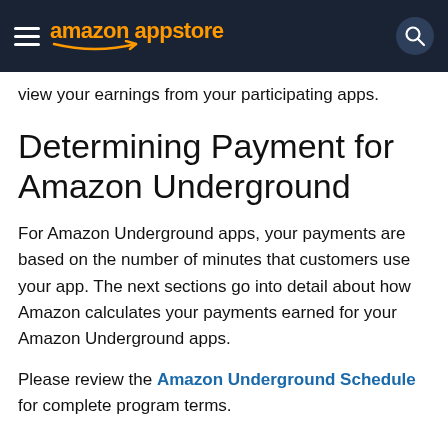amazon appstore
view your earnings from your participating apps.
Determining Payment for Amazon Underground
For Amazon Underground apps, your payments are based on the number of minutes that customers use your app. The next sections go into detail about how Amazon calculates your payments earned for your Amazon Underground apps.
Please review the Amazon Underground Schedule for complete program terms.